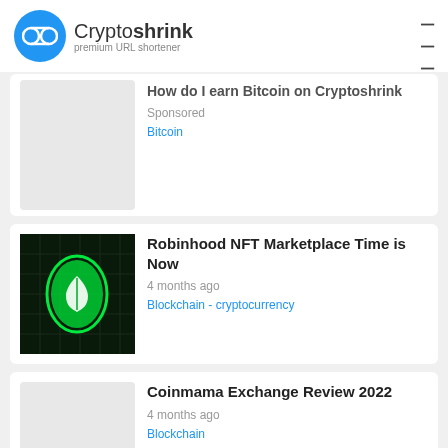Cryptoshrink premium URL shortener
How do I earn Bitcoin on Cryptoshrink
Sponsored
Bitcoin
[Figure (photo): Robinhood neon green logo sign]
Robinhood NFT Marketplace Time is Now
4 months ago
Blockchain - cryptocurrency
Coinmama Exchange Review 2022
4 months ago
Blockchain